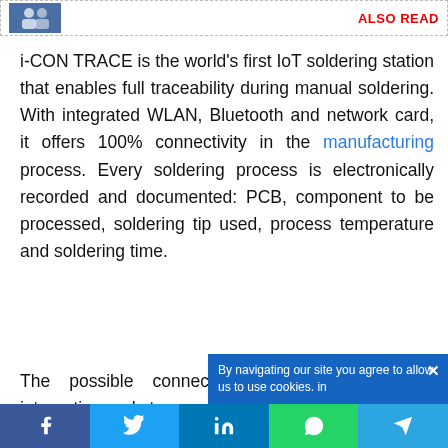[Figure (other): ALSO READ banner with thumbnail image of a soldering station and red ALSO READ label]
i-CON TRACE is the world's first IoT soldering station that enables full traceability during manual soldering. With integrated WLAN, Bluetooth and network card, it offers 100% connectivity in the manufacturing process. Every soldering process is electronically recorded and documented: PCB, component to be processed, soldering tip used, process temperature and soldering time.
The possible connection to an MES allows integration and storage of
[Figure (other): Cookie consent overlay: 'By navigating our site you agree to allow us to use cookies. in']
[Figure (other): Social share bar with Facebook, Twitter, LinkedIn, WhatsApp, Telegram buttons]